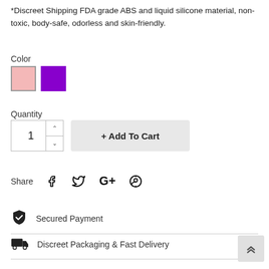*Discreet Shipping FDA grade ABS and liquid silicone material, non-toxic, body-safe, odorless and skin-friendly.
Color
[Figure (other): Two color swatches: pink (selected, with border) and purple]
Quantity
[Figure (other): Quantity input spinner showing 1, with up/down arrows, and an Add To Cart button]
Share
[Figure (other): Social share icons: Facebook (f), Twitter (bird), Google Plus (G+), Pinterest (P)]
Secured Payment
Discreet Packaging & Fast Delivery